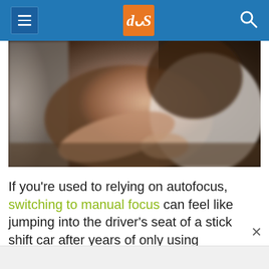dPS (digital Photography School) website header with hamburger menu, dPS logo, and search icon
[Figure (photo): A blurred photo of a woman in a white top reaching forward, shot in moody dark tones with shallow depth of field]
If you’re used to relying on autofocus, switching to manual focus can feel like jumping into the driver’s seat of a stick shift car after years of only using automatic. You’ll be a rusty at first